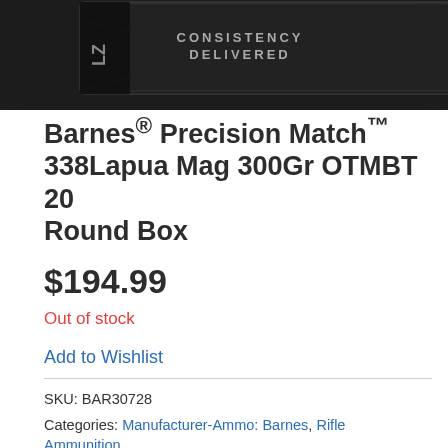[Figure (photo): Product image of Barnes ammunition box with dark/black packaging, text reading CONSISTENCY DELIVERED, with a logo on the right side]
Barnes® Precision Match™ 338Lapua Mag 300Gr OTMBT 20 Round Box
$194.99
Out of stock
Add to Wishlist
SKU: BAR30728
Categories: Manufacturer-Ammo: Barnes, Rifle Ammunition